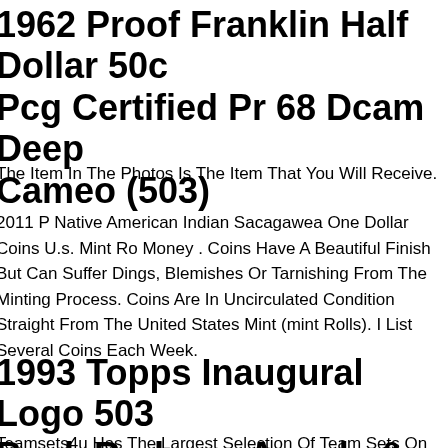1962 Proof Franklin Half Dollar 50c Pcg Certified Pr 68 Dcam Deep Cameo (503)
The Item In The Photos Is The Item That You Will Receive.
2011 P Native American Indian Sacagawea One Dollar Coins U.s. Mint Ro Money . Coins Have A Beautiful Finish But Can Suffer Dings, Blemishes Or Tarnishing From The Minting Process. Coins Are In Uncirculated Condition Straight From The United States Mint (mint Rolls). I List Several Coins Each Week.
1993 Topps Inaugural Logo 503 Buck Rodgers Angels & Tony Perez Reds Managers
Teamsets4u Has The Largest Selection Of Team Sets On The Internet.